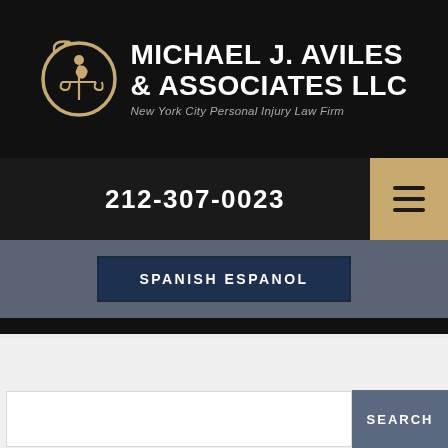[Figure (logo): Michael J. Aviles & Associates LLC logo — circular gold scales of justice emblem with figure]
MICHAEL J. AVILES & ASSOCIATES LLC
New York City Personal Injury Law Firm
212-307-0023
SPANISH ESPANOL
Top-Tier Trial Lawyers
For Catastrophic Personal Injury Cases
SEARCH